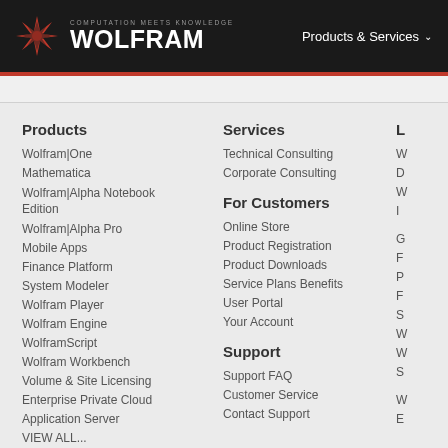COMPUTATION MEETS KNOWLEDGE WOLFRAM | Products & Services
Products
Wolfram|One
Mathematica
Wolfram|Alpha Notebook Edition
Wolfram|Alpha Pro
Mobile Apps
Finance Platform
System Modeler
Wolfram Player
Wolfram Engine
WolframScript
Wolfram Workbench
Volume & Site Licensing
Enterprise Private Cloud
Application Server
VIEW ALL...
Services
Technical Consulting
Corporate Consulting
For Customers
Online Store
Product Registration
Product Downloads
Service Plans Benefits
User Portal
Your Account
Support
Support FAQ
Customer Service
Contact Support